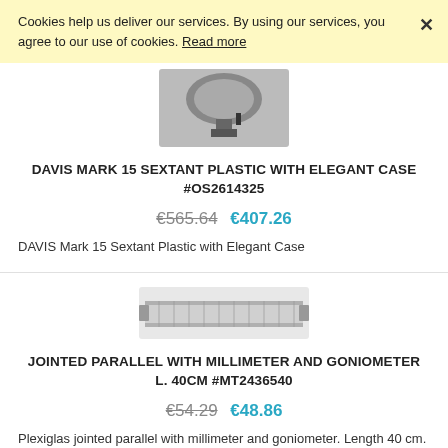Cookies help us deliver our services. By using our services, you agree to our use of cookies. Read more
[Figure (photo): Photo of Davis Mark 15 Sextant with elegant case]
DAVIS MARK 15 SEXTANT PLASTIC WITH ELEGANT CASE #OS2614325
€565.64  €407.26
DAVIS Mark 15 Sextant Plastic with Elegant Case
[Figure (photo): Photo of jointed parallel ruler with millimeter and goniometer scale]
JOINTED PARALLEL WITH MILLIMETER AND GONIOMETER L. 40CM #MT2436540
€54.29  €48.86
Plexiglas jointed parallel with millimeter and goniometer. Length 40 cm.